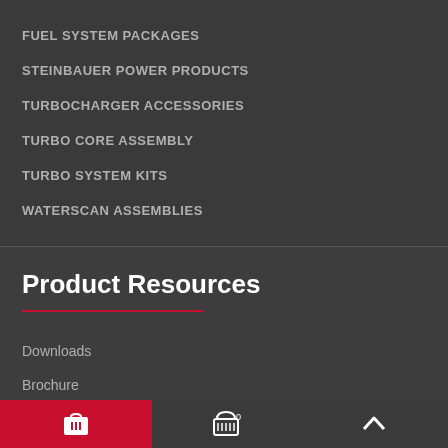FUEL SYSTEM PACKAGES
STEINBAUER POWER PRODUCTS
TURBOCHARGER ACCESSORIES
TURBO CORE ASSEMBLY
TURBO SYSTEM KITS
WATERSCAN ASSEMBLIES
Product Resources
Downloads
Brochure
Video